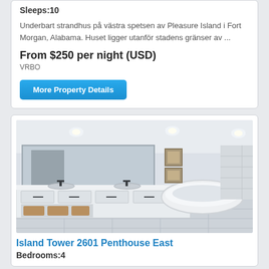Sleeps:10
Underbart strandhus på västra spetsen av Pleasure Island i Fort Morgan, Alabama. Huset ligger utanför stadens gränser av ...
From $250 per night (USD)
VRBO
More Property Details
[Figure (photo): Interior photo of a luxury bathroom with double vanity, freestanding soaking tub, and marble tile floor]
Island Tower 2601 Penthouse East
Bedrooms:4